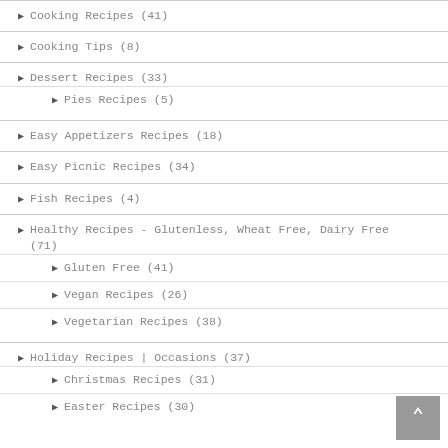Cooking Recipes (41)
Cooking Tips (8)
Dessert Recipes (33)
Pies Recipes (5)
Easy Appetizers Recipes (18)
Easy Picnic Recipes (34)
Fish Recipes (4)
Healthy Recipes - Glutenless, Wheat Free, Dairy Free (71)
Gluten Free (41)
Vegan Recipes (26)
Vegetarian Recipes (38)
Holiday Recipes | Occasions (37)
Christmas Recipes (31)
Easter Recipes (30)